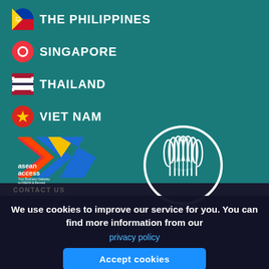THE PHILIPPINES
SINGAPORE
THAILAND
VIET NAM
[Figure (logo): ASEAN Access logo with colorful arrow/chevron graphic and text 'asean access Your Business Gateway to ASEAN & Beyond']
[Figure (logo): ASEAN logo — circular emblem with stylized sheaf of rice stalks, text 'asean' below]
We use cookies to improve our service for you. You can find more information from our
privacy policy
Accept cookies
Privacy Policy | Te...  | ...nap | Disclaimer